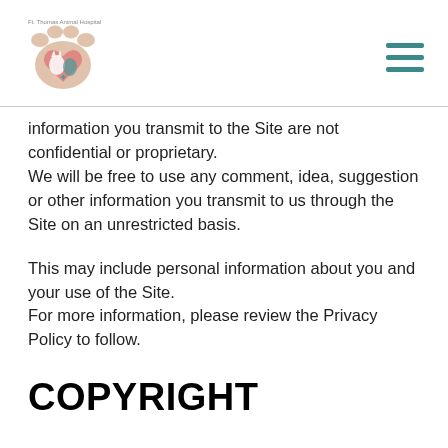[Figure (logo): Ft. Thomas Animal Hospital logo with paw print and animal silhouettes]
information you transmit to the Site are not confidential or proprietary.
We will be free to use any comment, idea, suggestion or other information you transmit to us through the Site on an unrestricted basis.
This may include personal information about you and your use of the Site.
For more information, please review the Privacy Policy to follow.
COPYRIGHT